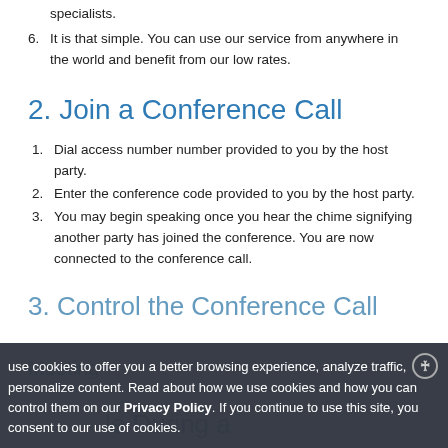specialists.
6. It is that simple. You can use our service from anywhere in the world and benefit from our low rates.
2. Join a Conference Call
1. Dial access number number provided to you by the host party.
2. Enter the conference code provided to you by the host party.
3. You may begin speaking once you hear the chime signifying another party has joined the conference. You are now connected to the conference call.
3. Control the Conference Call
Meeting
le During a
use cookies to offer you a better browsing experience, analyze traffic, personalize content. Read about how we use cookies and how you can control them on our Privacy Policy. If you continue to use this site, you consent to our use of cookies.